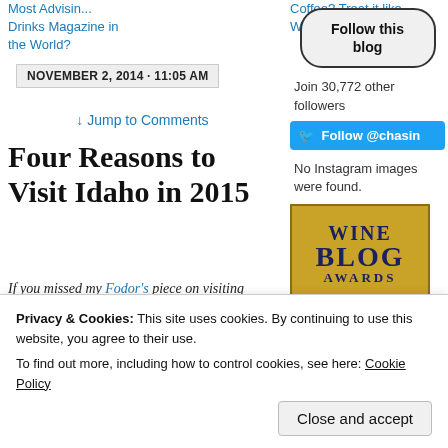Most Advisin... / Drinks Magazine in the World?
Coffee? Treat it like Wine →
Follow this blog
NOVEMBER 2, 2014 · 11:05 AM
Join 30,772 other followers
↓ Jump to Comments
Follow @chasin
Four Reasons to Visit Idaho in 2015
No Instagram images were found.
If you missed my Fodor's piece on visiting Idaho, here's another chance to read it…
[Figure (logo): Wine Blog Awards logo — gold/yellow background with dark blue bold text: WINE BLOG AWARDS]
Privacy & Cookies: This site uses cookies. By continuing to use this website, you agree to their use.
To find out more, including how to control cookies, see here: Cookie Policy
Close and accept